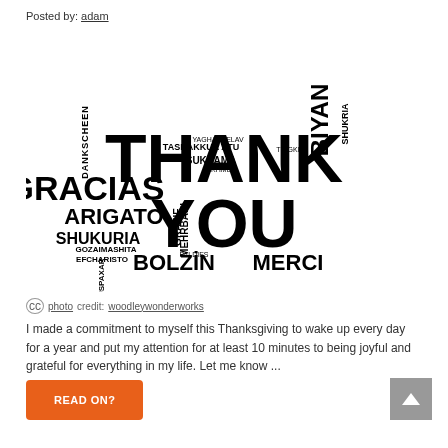Posted by: adam
[Figure (illustration): Word cloud showing 'THANK YOU' prominently in large bold text, surrounded by words meaning 'thank you' in multiple languages including GRACIAS, ARIGATO, SHUKURIA, BOLZIN, MERCI, DANKSCHEEN, TASHAKKUR ATU, SUKSAMA, GRAZIE, MEHRBANI, GOZAIMASHITA, EFCHARISTO, JUSPAXAR, BIYAN, SHUKRIA and others, all in black on white background.]
photo credit: woodleywonderworks
I made a commitment to myself this Thanksgiving to wake up every day for a year and put my attention for at least 10 minutes to being joyful and grateful for everything in my life. Let me know ...
READ ON?